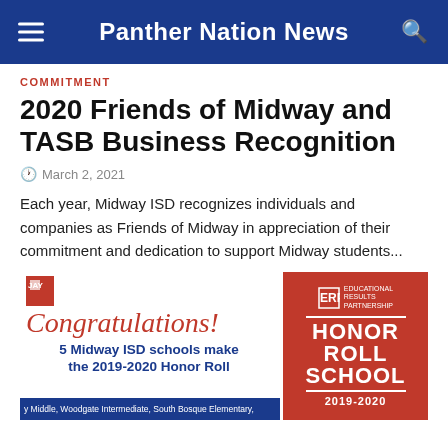Panther Nation News
COMMITMENT
2020 Friends of Midway and TASB Business Recognition
March 2, 2021
Each year, Midway ISD recognizes individuals and companies as Friends of Midway in appreciation of their commitment and dedication to support Midway students...
[Figure (infographic): Congratulations banner: 5 Midway ISD schools make the 2019-2020 Honor Roll. Educational Results Partnership Honor Roll School logo on red background. Bottom text: Middle, Woodgate Intermediate, South Bosque Elementary,...]